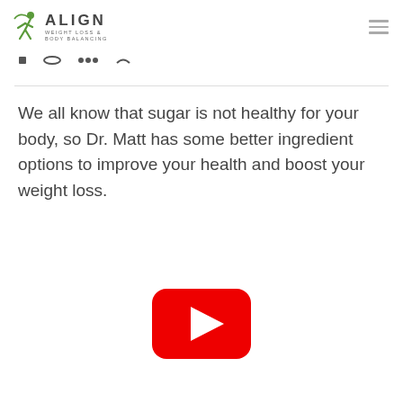[Figure (logo): Align Weight Loss & Body Balancing logo with green figure icon and text]
We all know that sugar is not healthy for your body, so Dr. Matt has some better ingredient options to improve your health and boost your weight loss.
[Figure (other): YouTube play button icon (red rounded rectangle with white triangle play symbol)]